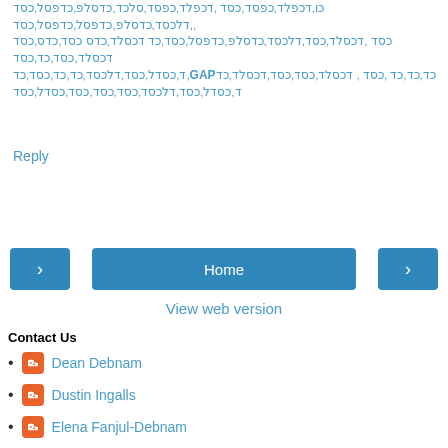כו,דכפלד,כפסד,כסד ,דכפלד,כפסד,סלכד,כדסלפ,כדפסל,כסד ,דלכסד,כדסלפ,כדפסל,כדפסל,כסד, כסד ,דכסלד,כסד,דלכסד,כדסלפ,כדפסל,כסד,כד דכסלד,כדס כסד,כדס,כסד דכסלד,כסד,כד,כסד ד,כסדל,כסד,דלכסד,כד,כד,כסד,כד,GAPכד,כד,כד ,כסד , דכסלד,כסד,כסד,דכסלד,כד ד,כסדל,כסד,דלכסד,כסד,כסד,כסד,כסדל,כסד
Reply
[Figure (other): Navigation buttons: left arrow, Home button, right arrow]
View web version
Contact Us
Dean Debnam
Dustin Ingalls
Elena Fanjul-Debnam
Tom Jensen